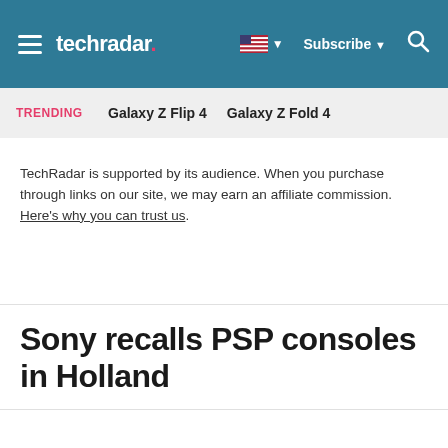techradar | Subscribe
TRENDING   Galaxy Z Flip 4   Galaxy Z Fold 4
TechRadar is supported by its audience. When you purchase through links on our site, we may earn an affiliate commission. Here's why you can trust us.
Sony recalls PSP consoles in Holland